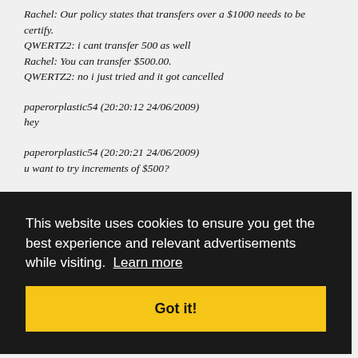Rachel: Our policy states that transfers over a $1000 needs to be certify.
QWERTZ2: i cant transfer 500 as well
Rachel: You can transfer $500.00.
QWERTZ2: no i just tried and it got cancelled
paperorplastic54 (20:20:12 24/06/2009)
hey
paperorplastic54 (20:20:21 24/06/2009)
u want to try increments of $500?
Jan (20:21:13 24/06/2009)
[partially obscured by overlay]
This website uses cookies to ensure you get the best experience and relevant advertisements while visiting. Learn more
Got it!
paperorplastic54 (20:21:44 24/06/2009)